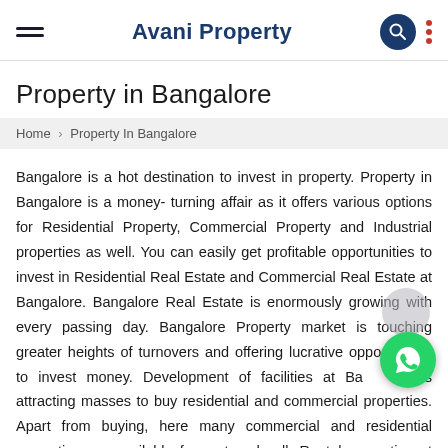Avani Property
Property in Bangalore
Home › Property In Bangalore
Bangalore is a hot destination to invest in property. Property in Bangalore is a money- turning affair as it offers various options for Residential Property, Commercial Property and Industrial properties as well. You can easily get profitable opportunities to invest in Residential Real Estate and Commercial Real Estate at Bangalore. Bangalore Real Estate is enormously growing with every passing day. Bangalore Property market is touching greater heights of turnovers and offering lucrative opportunities to invest money. Development of facilities at Bangalore is attracting masses to buy residential and commercial properties. Apart from buying, here many commercial and residential properties are available for rent and sell. Rental properties at Bangalore are also